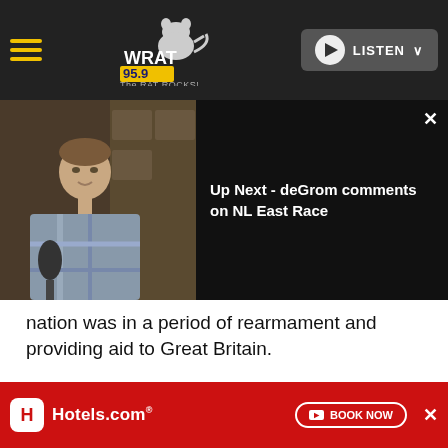WRAT 95.9 The RAT ROCKS! — LISTEN
[Figure (screenshot): Video player overlay showing ad 1 of 1 (0:30) with a man being interviewed in a locker room. Up Next panel reads: 'Up Next - deGrom comments on NL East Race']
nation was in a period of rearmament and providing aid to Great Britain.
1941
[Figure (photo): Black and white photograph, partially visible, showing trees or foliage]
[Figure (screenshot): Hotels.com advertisement banner with BOOK NOW button and close X button]